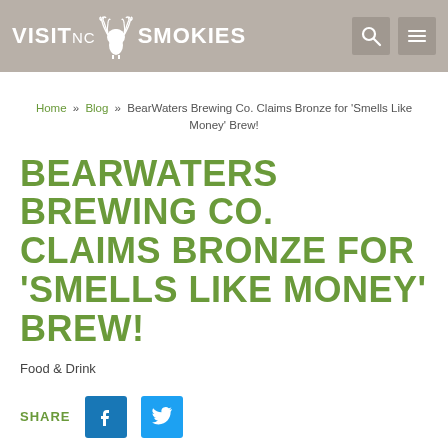VisitNC Smokies
Home » Blog » BearWaters Brewing Co. Claims Bronze for 'Smells Like Money' Brew!
BEARWATERS BREWING CO. CLAIMS BRONZE FOR 'SMELLS LIKE MONEY' BREW!
Food & Drink
SHARE